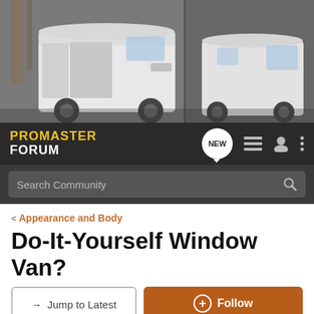[Figure (photo): Banner photo showing two white RAM ProMaster vans in a warehouse/industrial setting. Left side shows a large cargo van with side door open, right side shows a smaller ProMaster City van.]
PROMASTER FORUM — navigation bar with NEW button, list icon, user icon, and menu icon
Search Community
< Appearance and Body
Do-It-Yourself Window Van?
→ Jump to Latest
+ Follow
1 - 3 of 3 Posts
Chris · Registered 🇺🇸
Joined Oct 20, 2013 · 201 Posts